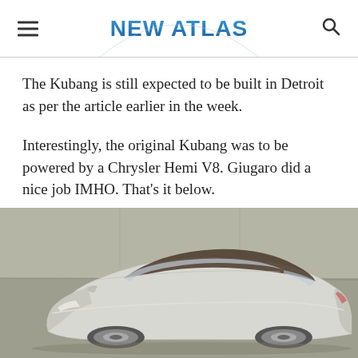NEW ATLAS
The Kubang is still expected to be built in Detroit as per the article earlier in the week.
Interestingly, the original Kubang was to be powered by a Chrysler Hemi V8. Giugaro did a nice job IMHO. That's it below.
[Figure (photo): Silver concept car (Maserati Kubang) photographed in front of a concrete wall. The car features a sleek coupe design with a dark-tinted roof panel and chrome/silver bodywork.]